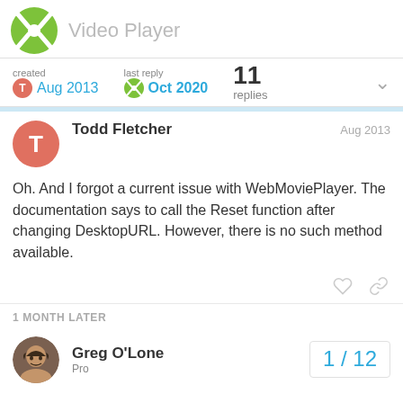Video Player
created Aug 2013  last reply Oct 2020  11 replies
Todd Fletcher  Aug 2013
Oh. And I forgot a current issue with WebMoviePlayer. The documentation says to call the Reset function after changing DesktopURL. However, there is no such method available.
1 MONTH LATER
Greg O'Lone  Pro  1 / 12